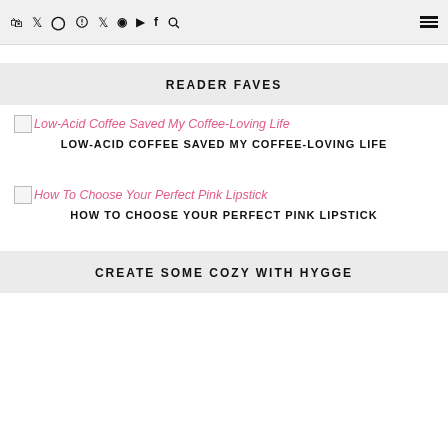🛍 🐦 📷 📌 ▶ 📘 🔍 ☰
READER FAVES
[Figure (illustration): Broken image placeholder for Low-Acid Coffee Saved My Coffee-Loving Life]
LOW-ACID COFFEE SAVED MY COFFEE-LOVING LIFE
[Figure (illustration): Broken image placeholder for How To Choose Your Perfect Pink Lipstick]
HOW TO CHOOSE YOUR PERFECT PINK LIPSTICK
CREATE SOME COZY WITH HYGGE